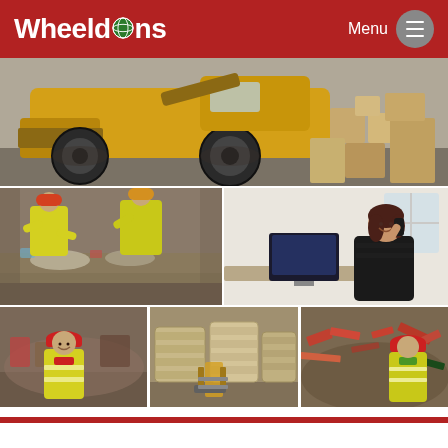Wheeldons — Menu navigation header
[Figure (photo): Large yellow construction/loader vehicle in a waste recycling facility with cardboard boxes piled in the background]
[Figure (photo): Workers in high-visibility yellow jackets and hard hats sorting waste/recyclables on a conveyor belt]
[Figure (photo): Woman in a black blazer talking on a phone at an office desk with a computer monitor]
[Figure (photo): Worker in red hard hat and high-visibility yellow vest standing in front of scrap/waste material]
[Figure (photo): Baled recyclable materials (paper/cardboard) stacked in a warehouse with a forklift]
[Figure (photo): Worker in red hard hat and high-visibility yellow vest standing in front of scrap metal pile]